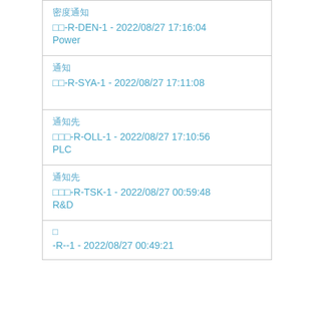密度通知
□□-R-DEN-1 - 2022/08/27 17:16:04
Power
通知
□□-R-SYA-1 - 2022/08/27 17:11:08
通知先
□□□-R-OLL-1 - 2022/08/27 17:10:56
PLC
通知先
□□□-R-TSK-1 - 2022/08/27 00:59:48
R&D
□
-R--1 - 2022/08/27 00:49:21